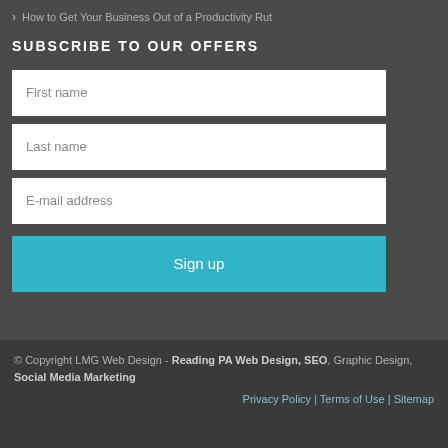How to Get Your Business Out of a Productivity Rut
SUBSCRIBE TO OUR OFFERS
First name
Last name
E-mail address
Sign up
© Copyright LMG Web Design - Reading PA Web Design, SEO, Graphic Design, Social Media Marketing | Privacy Policy | Terms of Use | Sitemap